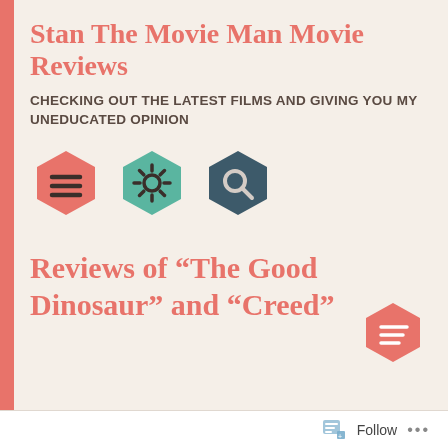Stan The Movie Man Movie Reviews
CHECKING OUT THE LATEST FILMS AND GIVING YOU MY UNEDUCATED OPINION
[Figure (illustration): Three hexagon icons: red hamburger menu, teal gear/settings, dark teal search magnifying glass]
Reviews of “The Good Dinosaur” and “Creed”
[Figure (illustration): Small red hexagon icon with menu lines]
Follow ...